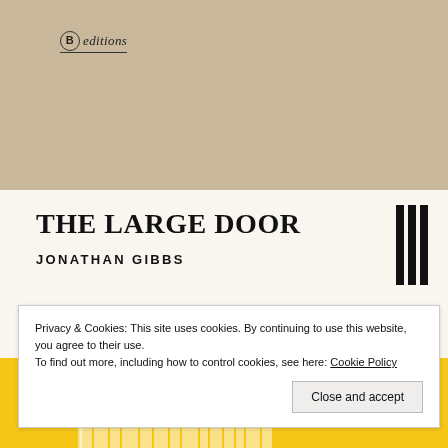[Figure (logo): CB editions logo — circle with B inside, followed by italic 'editions' text with underline, on kraft/tan background]
THE LARGE DOOR
JONATHAN GIBBS
[Figure (illustration): Three vertical black bars resembling a barcode or book-spine decoration]
[Figure (illustration): Yellow book cover section with white city skyline silhouette]
Privacy & Cookies: This site uses cookies. By continuing to use this website, you agree to their use.
To find out more, including how to control cookies, see here: Cookie Policy
Close and accept